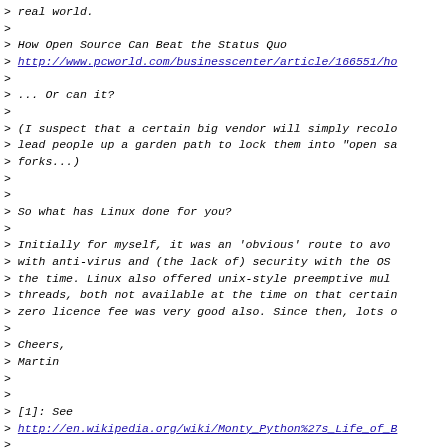> real world.
>
> How Open Source Can Beat the Status Quo
> http://www.pcworld.com/businesscenter/article/166551/ho
>
> ... Or can it?
>
> (I suspect that a certain big vendor will simply recolo
> lead people up a garden path to lock them into "open sa
> forks...)
>
>
> So what has Linux done for you?
>
> Initially for myself, it was an 'obvious' route to avo
> with anti-virus and (the lack of) security with the OS
> the time. Linux also offered unix-style preemptive mul
> threads, both not available at the time on that certain
> zero licence fee was very good also. Since then, lots o
>
> Cheers,
> Martin
>
>
> [1]: See
> http://en.wikipedia.org/wiki/Monty_Python%27s_Life_of_B
>
> --
> ----------------
> Martin Lomas
>